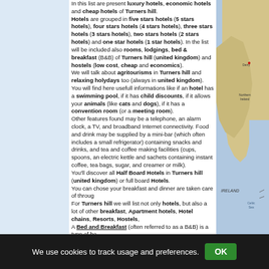In this list are present luxury hotels, economic hotels and cheap hotels of Turners hill. Hotels are grouped in five stars hotels (5 stars hotels), four stars hotels (4 stars hotels), three stars hotels (3 stars hotels), two stars hotels (2 stars hotels) and one star hotels (1 star hotels). In the list will be included also rooms, lodgings, bed & breakfast (B&B) of Turners hill (united kingdom) and hostels (low cost, cheap and economics). We will talk about agritourisms in Turners hill and relaxing holydays too (always in united kingdom). You will find here usefull informations like if an hotel has a swimming pool, if it has child discounts, if it allows your animals (like cats and dogs), if it has a convention room (or a meeting room). Other features found may be a telephone, an alarm clock, a TV, and broadband Internet connectivity. Food and drink may be supplied by a mini-bar (which often includes a small refrigerator) containing snacks and drinks, and tea and coffee making facilities (cups, spoons, an electric kettle and sachets containing instant coffee, tea bags, sugar, and creamer or milk). You'll discover all Half Board Hotels in Turners hill (united kingdom) or full board Hotels. You can chose your breakfast and dinner are taken care of through. For Turners hill we will list not only hotels, but also a lot of other breakfast, Apartment hotels, Hotel chains, Resorts, Hostels, A Bed and Breakfast (often referred to as a B&B) is a type of bo...
[Figure (map): Map of Ireland/UK region showing coastlines and place names including IRELAND, Derry, Northern Ireland labels.]
We use cookies to track usage and preferences.